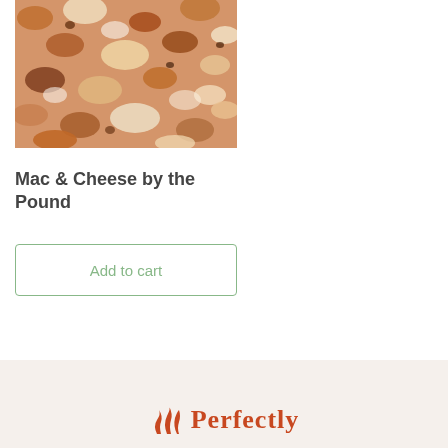[Figure (photo): Close-up photo of baked mac and cheese with golden brown and white melted cheese topping]
Mac & Cheese by the Pound
Add to cart
Perfectly